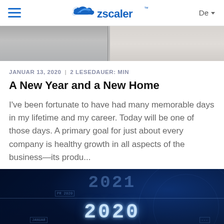Zscaler — De
[Figure (photo): Partial view of an interior/architectural photo showing light-colored floor and wall elements, cropped at top]
JANUAR 13, 2020 | 2 LESEDAUER: MIN
A New Year and a New Home
I've been fortunate to have had many memorable days in my lifetime and my career. Today will be one of those days. A primary goal for just about every company is healthy growth in all aspects of the business—its produ...
[Figure (photo): Dark blue futuristic digital display showing years 2021, 2020, 2019 stacked vertically with glowing 2020 in center, horizontal lines separating years, small annotation labels]